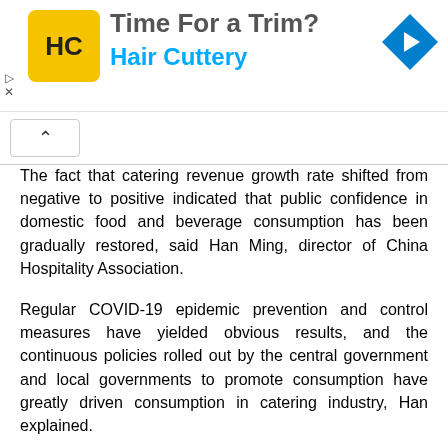[Figure (screenshot): Advertisement banner for Hair Cuttery with yellow HC logo, headline 'Time For a Trim?', brand name in blue, and blue navigation arrow icon on right.]
The fact that catering revenue growth rate shifted from negative to positive indicated that public confidence in domestic food and beverage consumption has been gradually restored, said Han Ming, director of China Hospitality Association.
Regular COVID-19 epidemic prevention and control measures have yielded obvious results, and the continuous policies rolled out by the central government and local governments to promote consumption have greatly driven consumption in catering industry, Han explained.